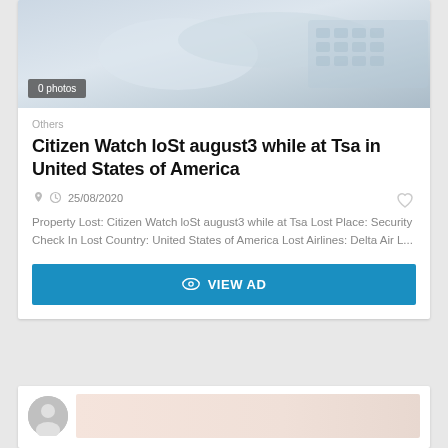[Figure (photo): Blurred photo of hands near a keyboard, used as listing background image with a '0 photos' badge overlay]
0 photos
Others
Citizen Watch loSt august3 while at Tsa in United States of America
25/08/2020
Property Lost: Citizen Watch loSt august3 while at Tsa Lost Place: Security Check In Lost Country: United States of America Lost Airlines: Delta Air L...
VIEW AD
[Figure (photo): Partial view of a second listing card with a circular avatar icon and blurred background image]